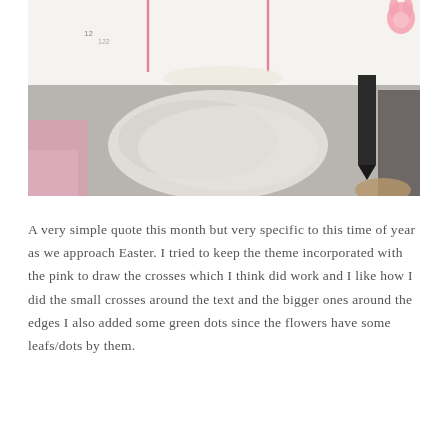[Figure (photo): A photograph showing an open notebook/planner with pink crosses drawn on white pages, a dark ribbon bookmark visible on the right side, and a bunny sticker in the upper right corner. The photo is taken at an angle on a bed with pink bedding visible.]
A very simple quote this month but very specific to this time of year as we approach Easter. I tried to keep the theme incorporated with the pink to draw the crosses which I think did work and I like how I did the small crosses around the text and the bigger ones around the edges I also added some green dots since the flowers have some leafs/dots by them.